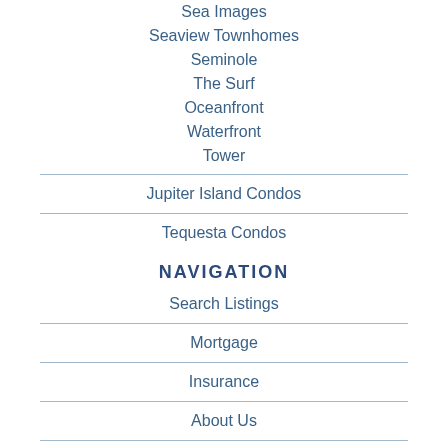Sea Images
Seaview Townhomes
Seminole
The Surf
Oceanfront
Waterfront
Tower
Jupiter Island Condos
Tequesta Condos
NAVIGATION
Search Listings
Mortgage
Insurance
About Us
Contact Us